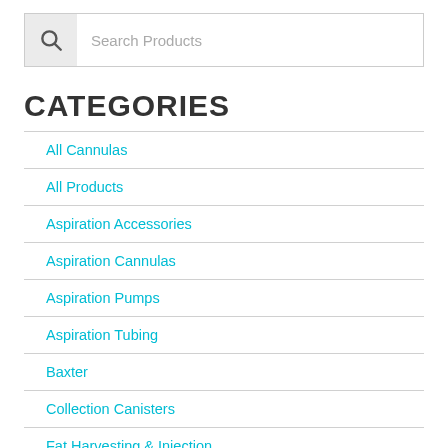[Figure (other): Search bar with magnifying glass icon and placeholder text 'Search Products']
CATEGORIES
All Cannulas
All Products
Aspiration Accessories
Aspiration Cannulas
Aspiration Pumps
Aspiration Tubing
Baxter
Collection Canisters
Fat Harvesting & Injection